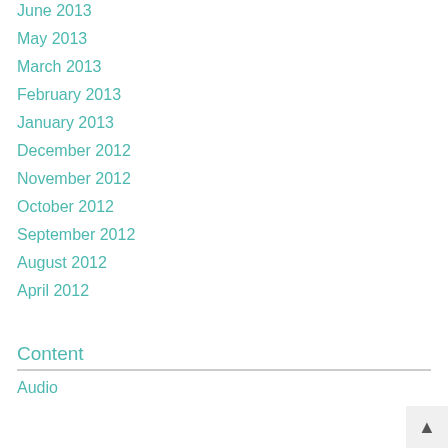June 2013
May 2013
March 2013
February 2013
January 2013
December 2012
November 2012
October 2012
September 2012
August 2012
April 2012
Content
Audio